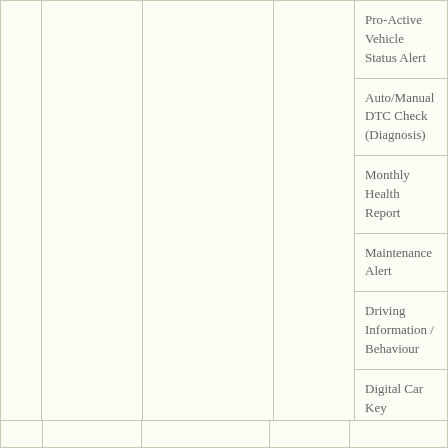|  |  |  |  | Pro-Active Vehicle Status Alert |
|  |  |  |  | Auto/Manual DTC Check (Diagnosis) |
|  |  |  |  | Monthly Health Report |
|  |  |  |  | Maintenance Alert |
|  |  |  |  | Driving Information / Behaviour |
|  |  |  |  | Digital Car Key |
|  |  |  |  | Car Pay(In-vehicle Payment) |
|  |  |  |  | IoT(CarToHome/HomeToCar) |